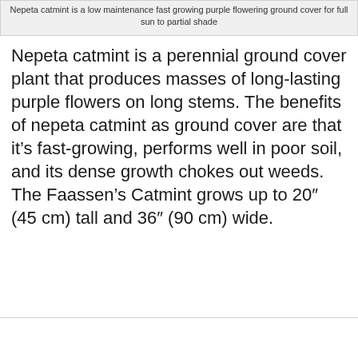Nepeta catmint is a low maintenance fast growing purple flowering ground cover for full sun to partial shade
Nepeta catmint is a perennial ground cover plant that produces masses of long-lasting purple flowers on long stems. The benefits of nepeta catmint as ground cover are that it's fast-growing, performs well in poor soil, and its dense growth chokes out weeds. The Faassen's Catmint grows up to 20″ (45 cm) tall and 36″ (90 cm) wide.